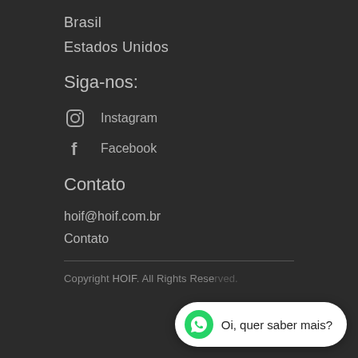Brasil
Estados Unidos
Siga-nos:
Instagram
Facebook
Contato
hoif@hoif.com.br
Contato
Copyright HOIF. All Rights Reserved.
Oi, quer saber mais?